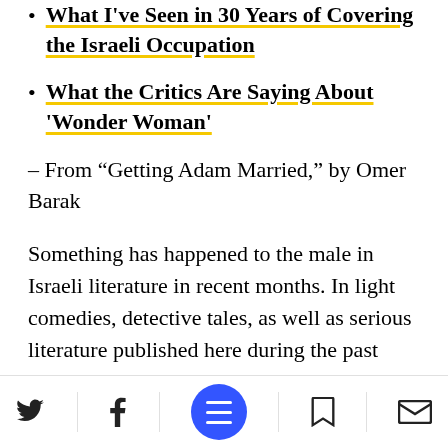What I've Seen in 30 Years of Covering the Israeli Occupation
What the Critics Are Saying About 'Wonder Woman'
– From “Getting Adam Married,” by Omer Barak
Something has happened to the male in Israeli literature in recent months. In light comedies, detective tales, as well as serious literature published here during the past year, we encounter male protagonists – portrayed by male authors – who are concerned with the personal and emoti… ith relationships
Social share bar with Twitter, Facebook, menu, bookmark, and email icons